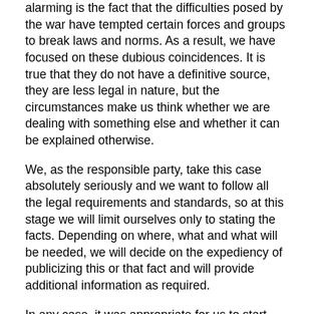alarming is the fact that the difficulties posed by the war have tempted certain forces and groups to break laws and norms. As a result, we have focused on these dubious coincidences. It is true that they do not have a definitive source, they are less legal in nature, but the circumstances make us think whether we are dealing with something else and whether it can be explained otherwise.
We, as the responsible party, take this case absolutely seriously and we want to follow all the legal requirements and standards, so at this stage we will limit ourselves only to stating the facts. Depending on where, what and what will be needed, we will decide on the expediency of publicizing this or that fact and will provide additional information as required.
In any case, it was appropriate for us to start talking about this topic, since we are dealing not only with the specifics of litigation against Credit Suisse, but also with other circumstances that are not related to the Bank at all, but the timely gathering of information which allows us to make